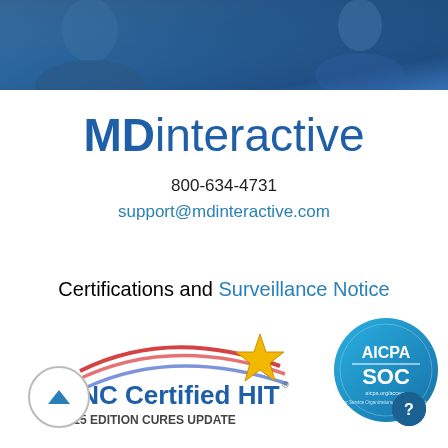[Figure (photo): Blue banner photo header with doctor/medical professional silhouette in background]
MDinteractive
800-634-4731
support@mdinteractive.com
Certifications and Surveillance Notice
[Figure (logo): ONC Certified HIT 2015 Edition Cures Update certification logo with gold star and red/blue swoosh]
[Figure (logo): AICPA SOC certification seal - circular blue badge with AICPA SOC text and aicpa.org/access]